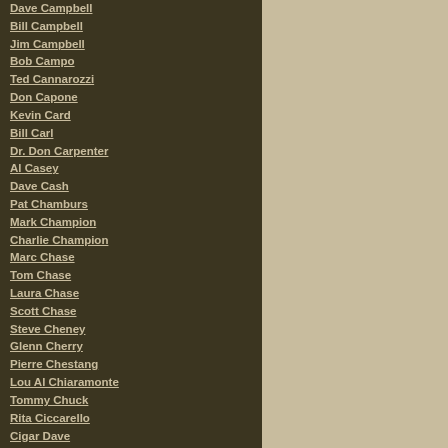Dave Campbell
Bill Campbell
Jim Campbell
Bob Campo
Ted Cannarozzi
Don Capone
Kevin Card
Bill Carl
Dr. Don Carpenter
Al Casey
Dave Cash
Pat Chamburs
Mark Champion
Charlie Champion
Marc Chase
Tom Chase
Laura Chase
Scott Chase
Steve Cheney
Glenn Cherry
Pierre Chestang
Lou Al Chiaramonte
Tommy Chuck
Rita Ciccarello
Cigar Dave